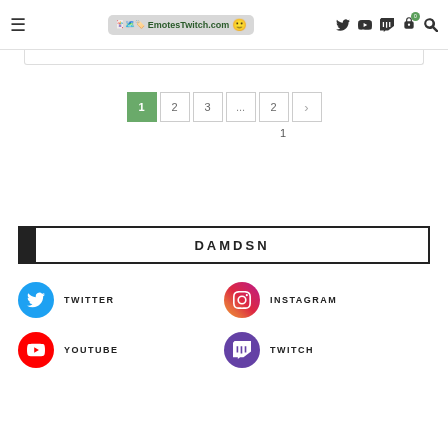EmotesTwitch.com
1  2  3  ...  2  >
1
DAMDSN
TWITTER
INSTAGRAM
YOUTUBE
TWITCH